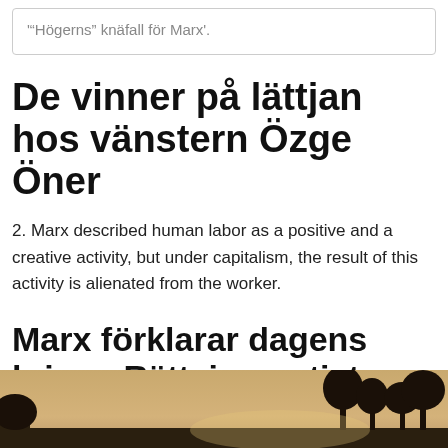'"Högerns" knäfall för Marx'.
De vinner på lättjan hos vänstern Özge Öner
2. Marx described human labor as a positive and a creative activity, but under capitalism, the result of this activity is alienated from the worker.
Marx förklarar dagens kris - - Rättvisepartiet Socialisterna
[Figure (photo): Outdoor landscape photo with silhouetted trees against a warm sky, partially visible at bottom of page]